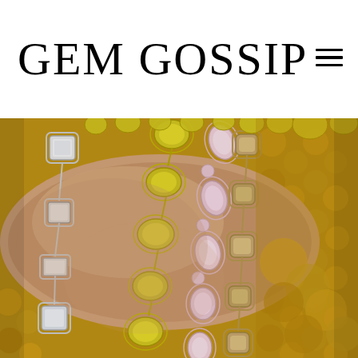GEM GOSSIP
[Figure (photo): Close-up photograph of a wrist wearing multiple diamond and gemstone bracelets of various styles — including white diamond tennis bracelets with mixed shapes, yellow diamond bracelets, and rose gold pink diamond bracelets — stacked together against a textured yellow fabric background.]